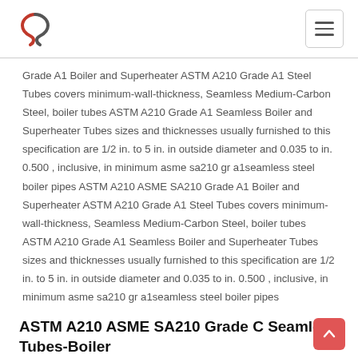Grade A1 Boiler and Superheater ASTM A210 Grade A1 Steel Tubes covers minimum-wall-thickness, Seamless Medium-Carbon Steel, boiler tubes ASTM A210 Grade A1 Seamless Boiler and Superheater Tubes sizes and thicknesses usually furnished to this specification are 1/2 in. to 5 in. in outside diameter and 0.035 to in. 0.500 , inclusive, in minimum asme sa210 gr a1seamless steel boiler pipes ASTM A210 ASME SA210 Grade A1 Boiler and Superheater ASTM A210 Grade A1 Steel Tubes covers minimum-wall-thickness, Seamless Medium-Carbon Steel, boiler tubes ASTM A210 Grade A1 Seamless Boiler and Superheater Tubes sizes and thicknesses usually furnished to this specification are 1/2 in. to 5 in. in outside diameter and 0.035 to in. 0.500 , inclusive, in minimum asme sa210 gr a1seamless steel boiler pipes
ASTM A210 ASME SA210 Grade C Seamless Tubes-Boiler